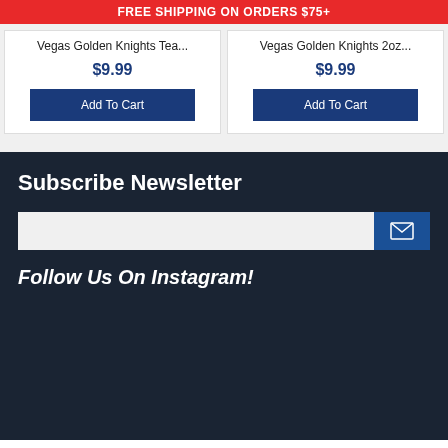FREE SHIPPING ON ORDERS $75+
Vegas Golden Knights Tea...
$9.99
Add To Cart
Vegas Golden Knights 2oz...
$9.99
Add To Cart
Subscribe Newsletter
Follow Us On Instagram!